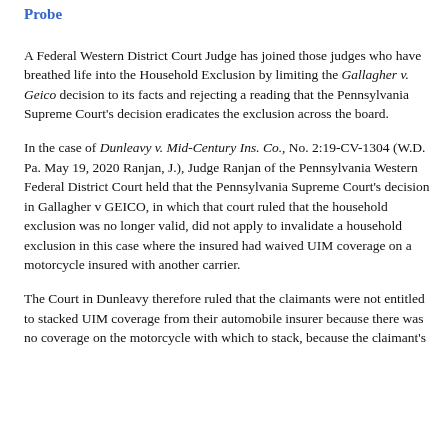Probe
A Federal Western District Court Judge has joined those judges who have breathed life into the Household Exclusion by limiting the Gallagher v. Geico decision to its facts and rejecting a reading that the Pennsylvania Supreme Court's decision eradicates the exclusion across the board.
In the case of Dunleavy v. Mid-Century Ins. Co., No. 2:19-CV-1304 (W.D. Pa. May 19, 2020 Ranjan, J.), Judge Ranjan of the Pennsylvania Western Federal District Court held that the Pennsylvania Supreme Court's decision in Gallagher v GEICO, in which that court ruled that the household exclusion was no longer valid, did not apply to invalidate a household exclusion in this case where the insured had waived UIM coverage on a motorcycle insured with another carrier.
The Court in Dunleavy therefore ruled that the claimants were not entitled to stacked UIM coverage from their automobile insurer because there was no coverage on the motorcycle with which to stack, because the claimant's